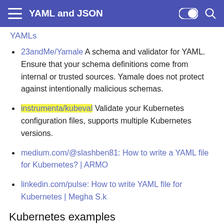YAML and JSON
YAMLs
23andMe/Yamale A schema and validator for YAML. Ensure that your schema definitions come from internal or trusted sources. Yamale does not protect against intentionally malicious schemas.
instrumenta/kubeval Validate your Kubernetes configuration files, supports multiple Kubernetes versions.
medium.com/@slashben81: How to write a YAML file for Kubernetes? | ARMO
linkedin.com/pulse: How to write YAML file for Kubernetes | Megha S.k
Kubernetes examples